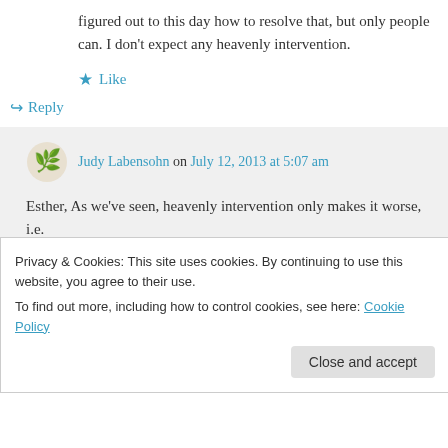figured out to this day how to resolve that, but only people can. I don't expect any heavenly intervention.
★ Like
↪ Reply
Judy Labensohn on July 12, 2013 at 5:07 am
Esther, As we've seen, heavenly intervention only makes it worse, i.e.
Privacy & Cookies: This site uses cookies. By continuing to use this website, you agree to their use.
To find out more, including how to control cookies, see here: Cookie Policy
Close and accept
tickets, buying a Rav Kav will take the